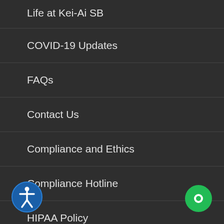Life at Kei-Ai SB
COVID-19 Updates
FAQs
Contact Us
Compliance and Ethics
Compliance Hotline
HIPAA Policy
[Figure (illustration): Accessibility icon button — blue circle with white human figure outline]
[Figure (illustration): Green chat/messaging button — green circle with white speech bubble icon]